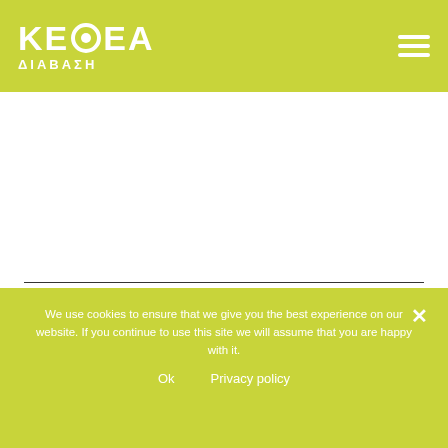[Figure (logo): KEΘEA ΔΙΑΒΑΣΗ logo in white on olive/yellow-green header background, with hamburger menu icon on the right]
We use cookies to ensure that we give you the best experience on our website. If you continue to use this site we will assume that you are happy with it.
Ok   Privacy policy